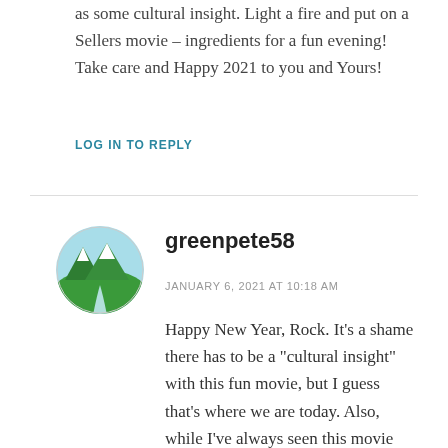as some cultural insight. Light a fire and put on a Sellers movie – ingredients for a fun evening! Take care and Happy 2021 to you and Yours!
LOG IN TO REPLY
[Figure (illustration): Circular avatar icon with a nature scene: mountains with snow and green hills with a white path/river, on a light blue background]
greenpete58
JANUARY 6, 2021 AT 10:18 AM
Happy New Year, Rock. It’s a shame there has to be a “cultural insight” with this fun movie, but I guess that’s where we are today. Also, while I’ve always seen this movie straight, it seems like a perfect candidate for some, um, “accompaniment.”